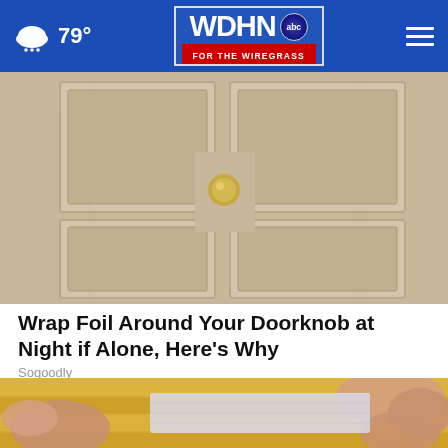WDHN abc FOR THE WIREGRASS — 79°
[Figure (photo): Close-up photo of a beige/tan interior door with a brass doorknob, panel details visible]
Wrap Foil Around Your Doorknob at Night if Alone, Here's Why
Sogoodly
[Figure (photo): Close-up photo of a hand holding or wrapping aluminum foil on a wooden surface]